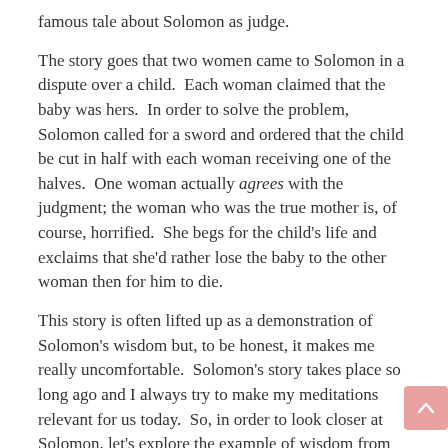famous tale about Solomon as judge.
The story goes that two women came to Solomon in a dispute over a child.  Each woman claimed that the baby was hers.  In order to solve the problem, Solomon called for a sword and ordered that the child be cut in half with each woman receiving one of the halves.  One woman actually agrees with the judgment; the woman who was the true mother is, of course, horrified.  She begs for the child's life and exclaims that she'd rather lose the baby to the other woman then for him to die.
This story is often lifted up as a demonstration of Solomon's wisdom but, to be honest, it makes me really uncomfortable.  Solomon's story takes place so long ago and I always try to make my meditations relevant for us today.  So, in order to look closer at Solomon, let's explore the example of wisdom from someone today.  Today's TV judges.